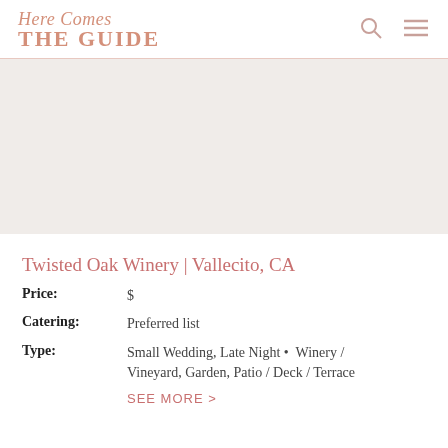Here Comes THE GUIDE
[Figure (photo): Wedding venue photo placeholder area (light beige/grey)]
Twisted Oak Winery | Vallecito, CA
Price: $
Catering: Preferred list
Type: Small Wedding, Late Night • Winery / Vineyard, Garden, Patio / Deck / Terrace
SEE MORE >